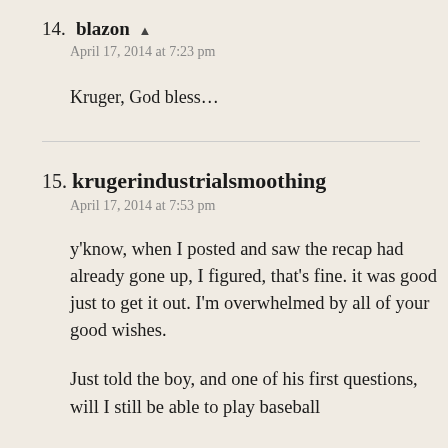14. blazon ▲
April 17, 2014 at 7:23 pm
Kruger, God bless...
15. krugerindustrialsmoothing
April 17, 2014 at 7:53 pm
y'know, when I posted and saw the recap had already gone up, I figured, that's fine. it was good just to get it out. I'm overwhelmed by all of your good wishes.
Just told the boy, and one of his first questions, will I still be able to play baseball